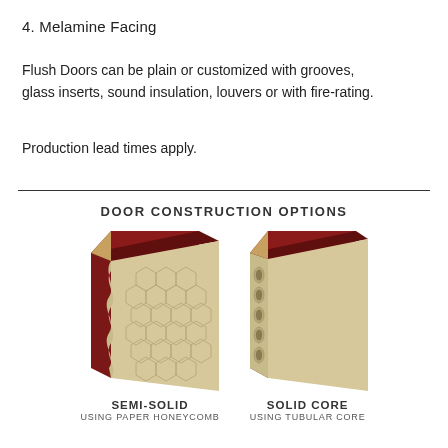4. Melamine Facing
Flush Doors can be plain or customized with grooves, glass inserts, sound insulation, louvers or with fire-rating.
Production lead times apply.
[Figure (illustration): Door Construction Options diagram showing two cross-sectional views of door construction: Semi-Solid using Paper Honeycomb (left) and Solid Core using Tubular Core (right). Each shows a dark red outer facing with an inner cream/beige core material exposed at an angle.]
SEMI-SOLID
USING PAPER HONEYCOMB
SOLID CORE
USING TUBULAR CORE